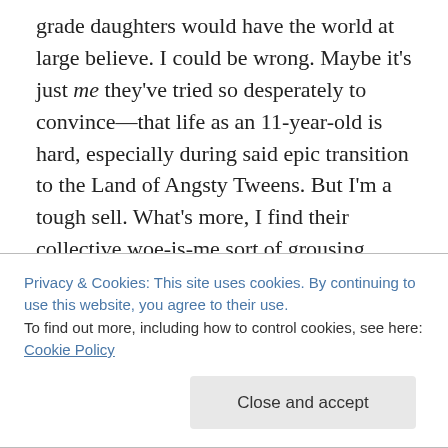grade daughters would have the world at large believe. I could be wrong. Maybe it's just me they've tried so desperately to convince—that life as an 11-year-old is hard, especially during said epic transition to the Land of Angsty Tweens. But I'm a tough sell. What's more, I find their collective woe-is-me sort of grousing fairly amusing, which, I assume, will ensure me a cozy spot in hell. Possibly a corner office, with a window overlooking a bumper crop of my shortcomings.
At any rate, between the histrionics involved with not
Privacy & Cookies: This site uses cookies. By continuing to use this website, you agree to their use.
To find out more, including how to control cookies, see here: Cookie Policy
Close and accept